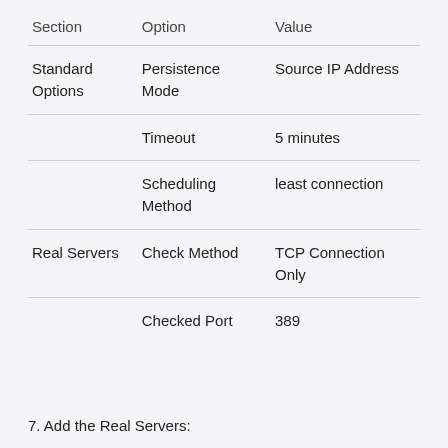| Section | Option | Value |
| --- | --- | --- |
| Standard Options | Persistence Mode | Source IP Address |
|  | Timeout | 5 minutes |
|  | Scheduling Method | least connection |
| Real Servers | Check Method | TCP Connection Only |
|  | Checked Port | 389 |
7. Add the Real Servers: